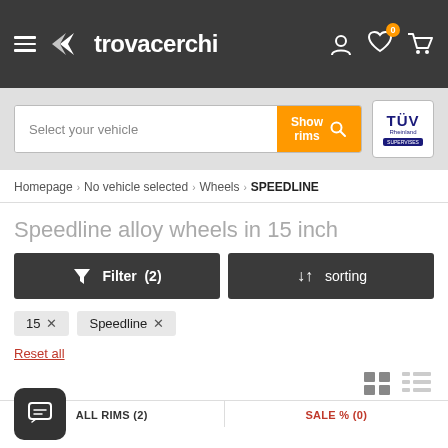trovacerchi – navigation header with logo, search bar, and TÜV badge
Homepage › No vehicle selected › Wheels › SPEEDLINE
Speedline alloy wheels in 15 inch
Filter (2)   sorting
15 ×   Speedline ×
Reset all
ALL RIMS (2)   SALE % (0)